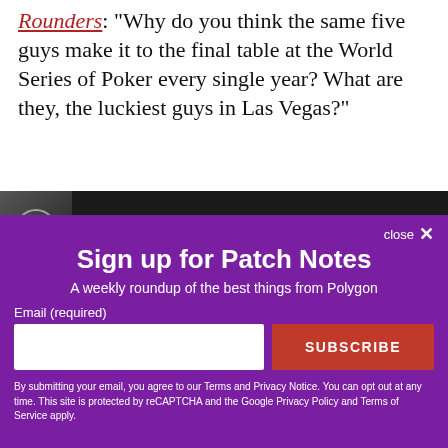Rounders: "Why do you think the same five guys make it to the final table at the World Series of Poker every single year? What are they, the luckiest guys in Las Vegas?"
[Figure (screenshot): Video player thumbnail showing two people, with title 'Rounders "It's a skill game Jo!" Mat...' and three-dot menu icon]
close ✕
Sign up for Patch Notes
A weekly roundup of the best things from Polygon
Email (required)
SUBSCRIBE
By submitting your email, you agree to our Terms and Privacy Notice. You can opt out at any time. This site is protected by reCAPTCHA and the Google Privacy Policy and Terms of Service apply.